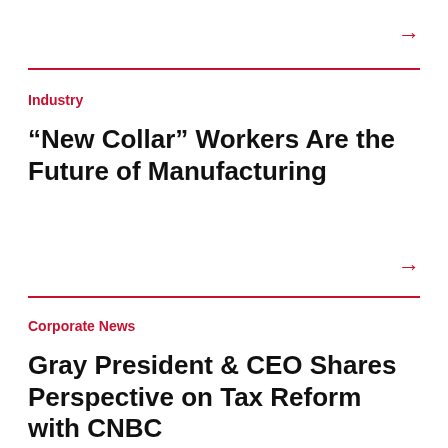→
Industry
“New Collar” Workers Are the Future of Manufacturing
→
Corporate News
Gray President & CEO Shares Perspective on Tax Reform with CNBC